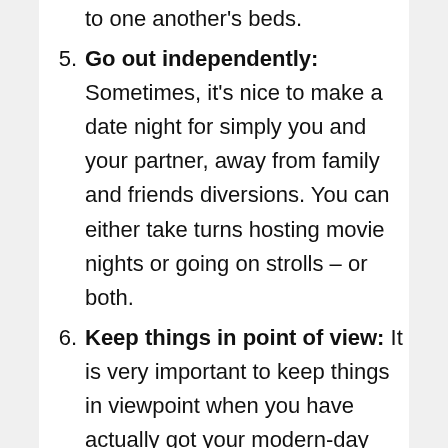to one another's beds.
5. Go out independently: Sometimes, it's nice to make a date night for simply you and your partner, away from family and friends diversions. You can either take turns hosting movie nights or going on strolls – or both.
6. Keep things in point of view: It is very important to keep things in viewpoint when you have actually got your modern-day gay partner. One of the biggest issues that couples deal with is getting involved